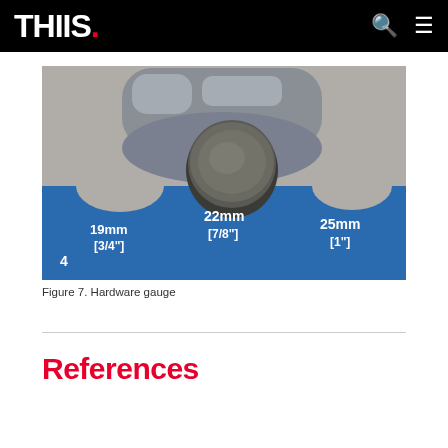THIIS.
[Figure (photo): Close-up photo of a blue hardware gauge tool with labeled measurement slots: 19mm [3/4"], 22mm [7/8"], and 25mm [1"]. A cylindrical metal piece is seated in one of the slots.]
Figure 7. Hardware gauge
References